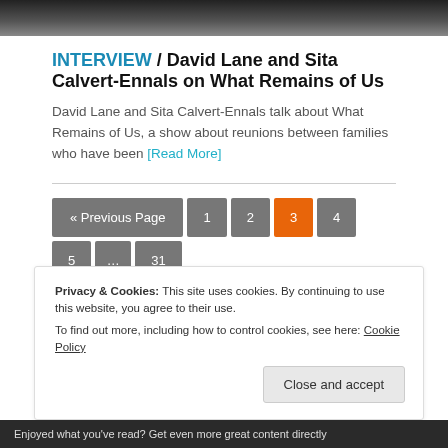[Figure (photo): Dark photo strip at top of page, showing partial figures against dark background]
INTERVIEW / David Lane and Sita Calvert-Ennals on What Remains of Us
David Lane and Sita Calvert-Ennals talk about What Remains of Us, a show about reunions between families who have been [Read More]
« Previous Page  1  2  3  4  5  ...  31   Next Page »
Privacy & Cookies: This site uses cookies. By continuing to use this website, you agree to their use.
To find out more, including how to control cookies, see here: Cookie Policy
Close and accept
Enjoyed what you've read? Get even more great content directly